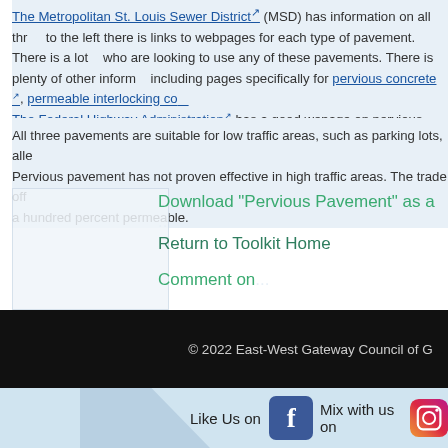The Metropolitan St. Louis Sewer District (MSD) has information on all three types of pavement. To the left there is links to webpages for each type of pavement. There is a lot of other information for people who are looking to use any of these pavements. There is plenty of other information on the website, including pages specifically for pervious concrete, permeable interlocking co... The Federal Highway Administration has a good wepage on pervious concr...
All three pavements are suitable for low traffic areas, such as parking lots, alle... Pervious pavement has not proven effective in high traffic areas. The trade off... a hundred percent permeable.
Download "Pervious Pavement" as a ...
Return to Toolkit Home
Comment on...
© 2022 East-West Gateway Council of G...
Like Us on
Mix with us on